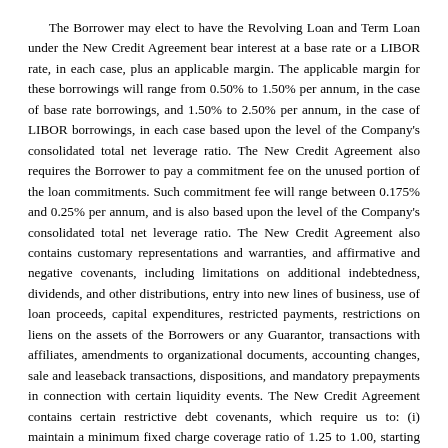The Borrower may elect to have the Revolving Loan and Term Loan under the New Credit Agreement bear interest at a base rate or a LIBOR rate, in each case, plus an applicable margin. The applicable margin for these borrowings will range from 0.50% to 1.50% per annum, in the case of base rate borrowings, and 1.50% to 2.50% per annum, in the case of LIBOR borrowings, in each case based upon the level of the Company's consolidated total net leverage ratio. The New Credit Agreement also requires the Borrower to pay a commitment fee on the unused portion of the loan commitments. Such commitment fee will range between 0.175% and 0.25% per annum, and is also based upon the level of the Company's consolidated total net leverage ratio. The New Credit Agreement also contains customary representations and warranties, and affirmative and negative covenants, including limitations on additional indebtedness, dividends, and other distributions, entry into new lines of business, use of loan proceeds, capital expenditures, restricted payments, restrictions on liens on the assets of the Borrowers or any Guarantor, transactions with affiliates, amendments to organizational documents, accounting changes, sale and leaseback transactions, dispositions, and mandatory prepayments in connection with certain liquidity events. The New Credit Agreement contains certain restrictive debt covenants, which require us to: (i) maintain a minimum fixed charge coverage ratio of 1.25 to 1.00, starting with the quarter ended December 31, 2021, which is to be determined for each quarter end on a trailing four quarter basis and (ii) maintain a quarterly maximum consolidated total net leverage ratio of 3.75 to 1.00 from the quarter ended December 31, 2021 until the quarter ended September 30, 2022, and thereafter 3.50 to 1.00, which is in each case to be determined on a trailing four quarter basis;